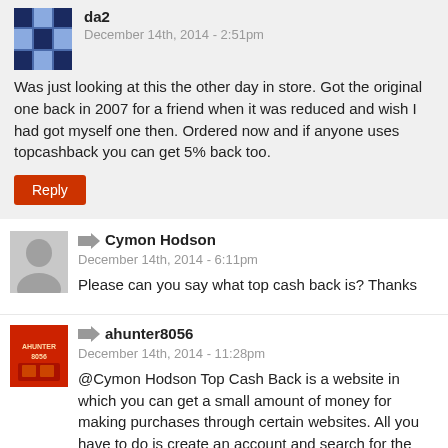da2
December 14th, 2014 - 2:51pm
Was just looking at this the other day in store. Got the original one back in 2007 for a friend when it was reduced and wish I had got myself one then. Ordered now and if anyone uses topcashback you can get 5% back too.
Reply
Cymon Hodson
December 14th, 2014 - 6:11pm
Please can you say what top cash back is? Thanks
ahunter8056
December 14th, 2014 - 11:28pm
@Cymon Hodson Top Cash Back is a website in which you can get a small amount of money for making purchases through certain websites. All you have to do is create an account and search for the online store you want to make a purchase at. If Top Cash Back provide cashback for the online store you